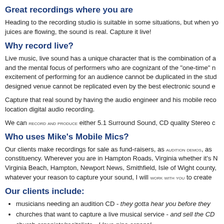Great recordings where you are
Heading to the recording studio is suitable in some situations, but when your juices are flowing, the sound is real. Capture it live!
Why record live?
Live music, live sound has a unique character that is the combination of a and the mental focus of performers who are cognizant of the "one-time" n excitement of performing for an audience cannot be duplicated in the stud designed venue cannot be replicated even by the best electronic sound e
Capture that real sound by having the audio engineer and his mobile reco location digital audio recording.
We can record and produce either 5.1 Surround Sound, CD quality Stereo c
Who uses Mike's Mobile Mics?
Our clients make recordings for sale as fund-raisers, as audition demos, as constituency. Wherever you are in Hampton Roads, Virginia whether it's N Virginia Beach, Hampton, Newport News, Smithfield, Isle of Wight county, whatever your reason to capture your sound, I will work with you to create
Our clients include:
musicians needing an audition CD - they gotta hear you before they
churches that want to capture a live musical service - and sell the CD
church organists/recitalists - I love pipe organs!
school bands, orchestras and choral groups - for souvenirs and fund
professional and semi-professional orchestras and wind bands - see